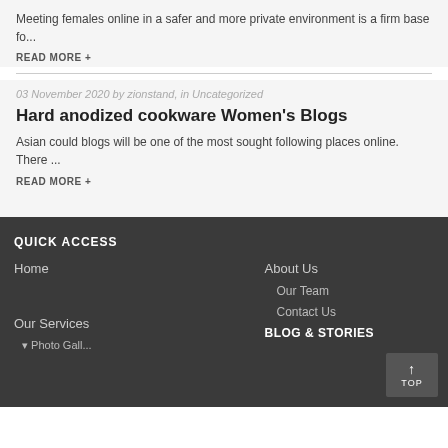Meeting females online in a safer and more private environment is a firm base fo...
READ MORE +
03 November 2020 by zionstand, in Uncategorized
Hard anodized cookware Women's Blogs
Asian could blogs will be one of the most sought following places online. There ...
READ MORE +
QUICK ACCESS
Home
About Us
Our Team
Contact Us
Our Services
BLOG & STORIES